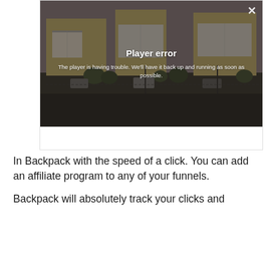[Figure (screenshot): A video player showing a 'Player error' message overlay on top of a scene depicting industrial buildings. The overlay reads: 'Player error — The player is having trouble. We'll have it back up and running as soon as possible.' A close (×) button appears in the top-right corner.]
In Backpack with the speed of a click. You can add an affiliate program to any of your funnels.
Backpack will absolutely track your clicks and